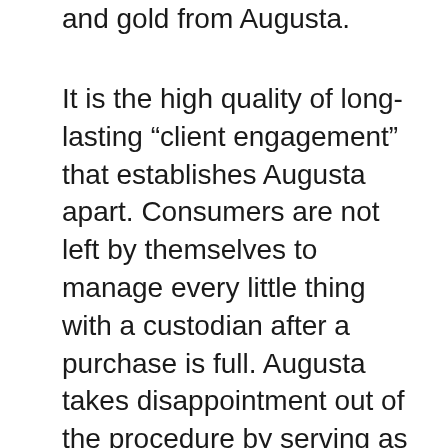and gold from Augusta.
It is the high quality of long-lasting “client engagement” that establishes Augusta apart. Consumers are not left by themselves to manage every little thing with a custodian after a purchase is full. Augusta takes disappointment out of the procedure by serving as a partner from the beginning as well as via the life of the account– extremely different from lots of silver and gold suppliers that act just as sellers of the steels. Augusta takes care of most of the paperwork for customers at the time of acquisition and as an ongoing solution, including distributions, contributions, transfers as well as RMDs.